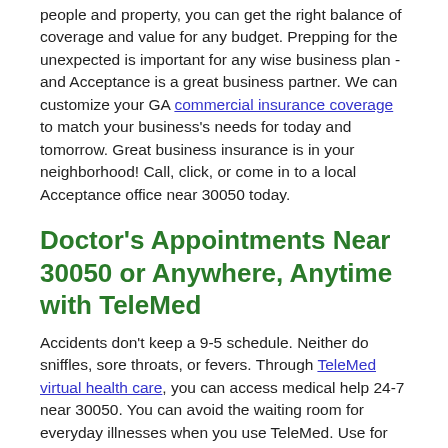people and property, you can get the right balance of coverage and value for any budget. Prepping for the unexpected is important for any wise business plan - and Acceptance is a great business partner. We can customize your GA commercial insurance coverage to match your business's needs for today and tomorrow. Great business insurance is in your neighborhood! Call, click, or come in to a local Acceptance office near 30050 today.
Doctor's Appointments Near 30050 or Anywhere, Anytime with TeleMed
Accidents don't keep a 9-5 schedule. Neither do sniffles, sore throats, or fevers. Through TeleMed virtual health care, you can access medical help 24-7 near 30050. You can avoid the waiting room for everyday illnesses when you use TeleMed. Use for consultations, diagnoses, and some prescriptions! TeleMed connects you to a board-certified doctor in a video or voice chat from your home near Forest Park or anywhere else. No more waiting for an appointment or sitting in the clinic. Plus, every subscription comes with a pharmacy discount card that can help you save an average of 22% on your prescriptions.